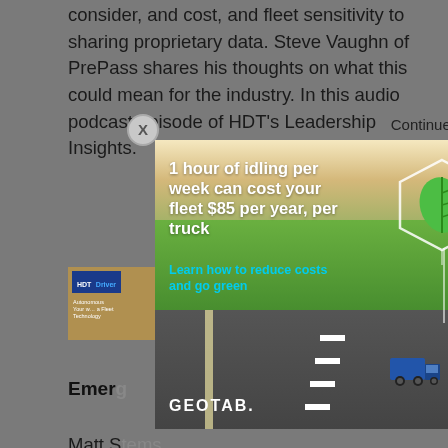consider, and cost, and fleet sensitivity to sharing proprietary data. Steve Vaughn of PrePass shares his thoughts on what this could mean for the industry. In this audio podcast episode of HDT's Leadership Insights.
[Figure (screenshot): Modal advertisement overlay from GEOTAB showing a truck on a green highway with text: '1 hour of idling per week can cost your fleet $85 per year, per truck' and 'Learn how to reduce costs and go green'. Close button (X) and 'Continue to Site »' link visible above.]
Emer... g
Matt S... ems engin... standa... ogy, and th... ose technologies, in this audio Leadership Insights podcast.